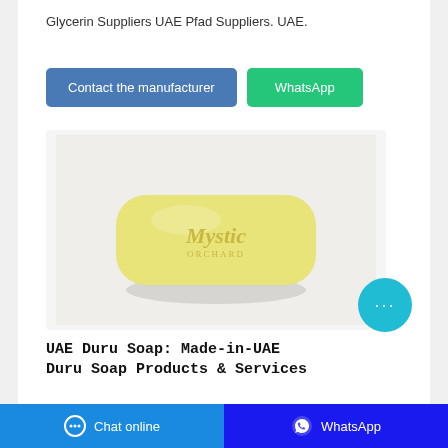Glycerin Suppliers UAE Pfad Suppliers. UAE.
Contact the manufacturer
WhatsApp
[Figure (photo): A yellow bar of Mystic Orchard soap on a light background]
UAE Duru Soap: Made-in-UAE Duru Soap Products & Services
UAE Duru Soap Products supplied by reliable UAE Duru
Chat online
WhatsApp